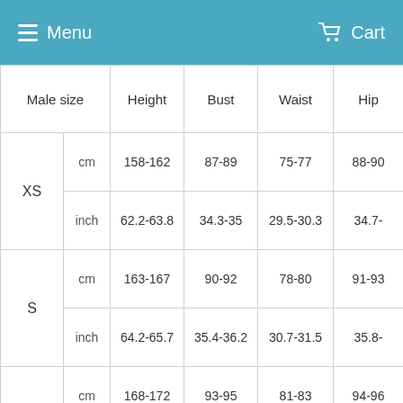Menu  Cart
| Male size |  | Height | Bust | Waist | Hip |
| --- | --- | --- | --- | --- | --- |
| XS | cm | 158-162 | 87-89 | 75-77 | 88-90 |
| XS | inch | 62.2-63.8 | 34.3-35 | 29.5-30.3 | 34.7-... |
| S | cm | 163-167 | 90-92 | 78-80 | 91-93 |
| S | inch | 64.2-65.7 | 35.4-36.2 | 30.7-31.5 | 35.8-... |
| M | cm | 168-172 | 93-95 | 81-83 | 94-96 |
| M | inch | 66.1-67.7 | 36.6-37.4 | 31.9-32.7 | 37-37... |
|  | cm | 173-177 | 96-98 | 84-86 | 97-99 |